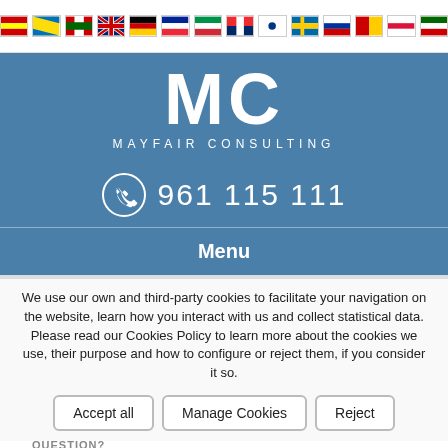[Figure (other): Row of international flag icons for language selection: Spanish, Catalan, Basque, British, German, French, Italian, Norwegian, Finnish, Swedish, Russian, Dutch, Chinese, Polish, Portuguese]
[Figure (logo): Mayfair Consulting logo: large white 'MC' letters with 'MAYFAIR CONSULTING' text below on a steel blue background]
961 115 111
Menu
We use our own and third-party cookies to facilitate your navigation on the website, learn how you interact with us and collect statistical data. Please read our Cookies Policy to learn more about the cookies we use, their purpose and how to configure or reject them, if you consider it so.
QUESTION?
From